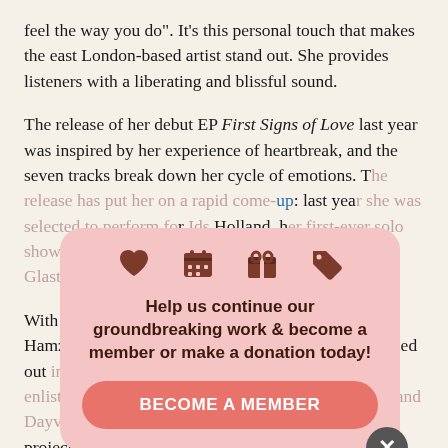feel the way you do". It’s this personal touch that makes the east London-based artist stand out. She provides listeners with a liberating and blissful sound.
The release of her debut EP First Signs of Love last year was inspired by her experience of heartbreak, and the seven tracks break down her cycle of emotions. The release has put her on a rapid come-up: last year she was selected to perform for Holland, her first-ever solo show sold out and earlier this year she performed at Glastonbury.
With the recent release of her second EP, Phases, Hamzaa reflects her growth as an artist who has stepped out independently, no longer standing alone as she enlists the help of London-based songwriters Britten and Dayvon. Phases takes a different turn from her first project as she brings
[Figure (infographic): Pink popup overlay with icons (heart, calendar, gift, tag) and text: Help us continue our groundbreaking work & become a member or make a donation today! with a BECOME A MEMBER button and close X button.]